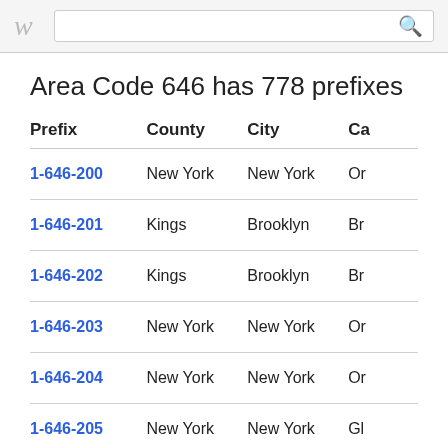w [search box]
Area Code 646 has 778 prefixes
| Prefix | County | City | Ca |
| --- | --- | --- | --- |
| 1-646-200 | New York | New York | Or |
| 1-646-201 | Kings | Brooklyn | Br |
| 1-646-202 | Kings | Brooklyn | Br |
| 1-646-203 | New York | New York | Or |
| 1-646-204 | New York | New York | Or |
| 1-646-205 | New York | New York | Gl |